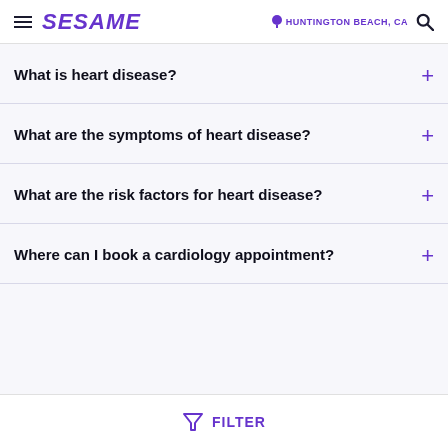SESAME | HUNTINGTON BEACH, CA
What is heart disease?
What are the symptoms of heart disease?
What are the risk factors for heart disease?
Where can I book a cardiology appointment?
FILTER